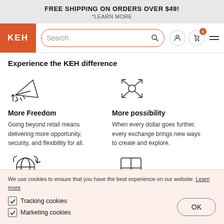FREE SHIPPING ON ORDERS OVER $49!
*LEARN MORE
[Figure (screenshot): KEH logo in orange box, search bar with orange border, user icon, cart icon with 0 badge, hamburger menu]
Experience the KEH difference
[Figure (illustration): Paper airplane icon with arrows pointing up and diagonally]
More Freedom
Going beyond retail means delivering more opportunity, security, and flexibility for all.
[Figure (illustration): Four arrows pointing outward from center circle (expand icon)]
More possibility
When every dollar goes further, every exchange brings new ways to create and explore.
[Figure (illustration): Globe with circular arrows around it]
[Figure (illustration): Grid/window icon]
We use cookies to ensure that you have the best experience on our website. Learn more
Tracking cookies
Marketing cookies